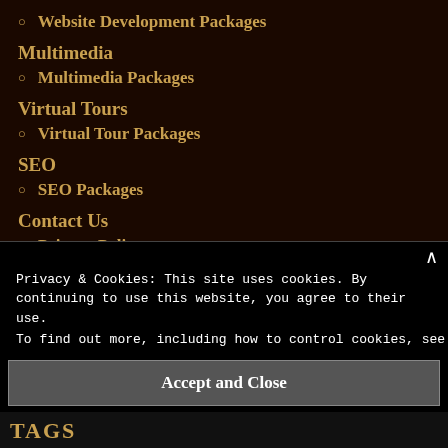Website Development Packages
Multimedia
Multimedia Packages
Virtual Tours
Virtual Tour Packages
SEO
SEO Packages
Contact Us
Privacy Policy
Privacy & Cookies: This site uses cookies. By continuing to use this website, you agree to their use.
To find out more, including how to control cookies, see here: Cookie
Accept and Close
TAGS